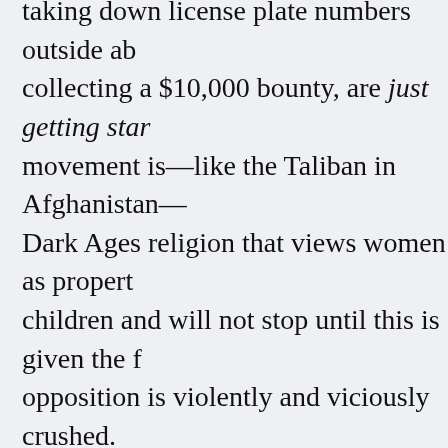taking down license plate numbers outside ab collecting a $10,000 bounty, are just getting star movement is—like the Taliban in Afghanistan— Dark Ages religion that views women as propert children and will not stop until this is given the f opposition is violently and viciously crushed.
But even that is not the full picture. This war cornerstone of an all-around fascist remaking of advancing. Do you recall the January 6th violen for Mike Pence and likely Nancy Pelosi and othe supremacist Confederate flags, and their theocr Since then, the Republican Party has purged its supported and fueled the insurrection, but of tho packed the courts and legislatures with fascists hardened around their determination to use viol their vengefully white supremacist, male suprem scientific fascist nightmare.
Here, it is worth quoting extensively from a rece